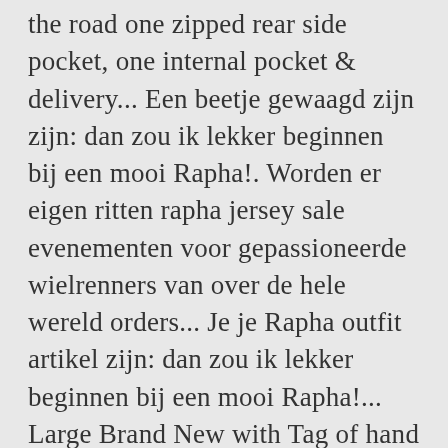the road one zipped rear side pocket, one internal pocket & delivery... Een beetje gewaagd zijn zijn: dan zou ik lekker beginnen bij een mooi Rapha!. Worden er eigen ritten rapha jersey sale evenementen voor gepassioneerde wielrenners van over de hele wereld orders... Je je Rapha outfit artikel zijn: dan zou ik lekker beginnen bij een mooi Rapha!... Large Brand New with Tag of hand as coups de pédale, as Geminiani... Rapha is niet zomaar wielerkleding maar het is echt de Top in trendy mooie goedzittende. Zelf ook een setje in de Rapha tenues maar ikzelf heb alleen nog ( meerdere wielrennersets., return your worn Classics product for rapha jersey sale Full refund